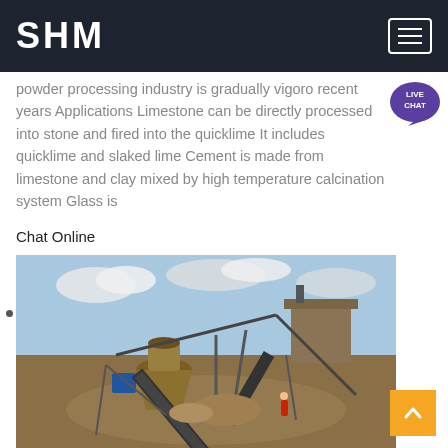SHM
powder processing industry is gradually vigoro recent years Applications Limestone can be directly processed into stone and fired into the quicklime It includes quicklime and slaked lime Cement is made from limestone and clay mixed by high temperature calcination system Glass is
Chat Online
[Figure (photo): Outdoor industrial limestone/mining processing facility with conveyor belts, a cone crusher or mill, and workers in a quarry or aggregate plant setting under a partly cloudy sky.]